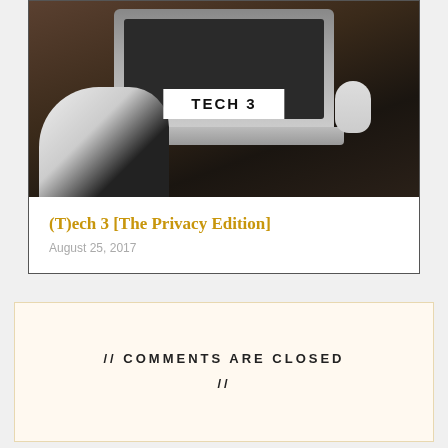[Figure (photo): Photo of a laptop computer and mouse on a dark wooden desk with a modern white chair in the foreground. A white label overlay reads TECH 3.]
(T)ech 3 [The Privacy Edition]
August 25, 2017
// COMMENTS ARE CLOSED //